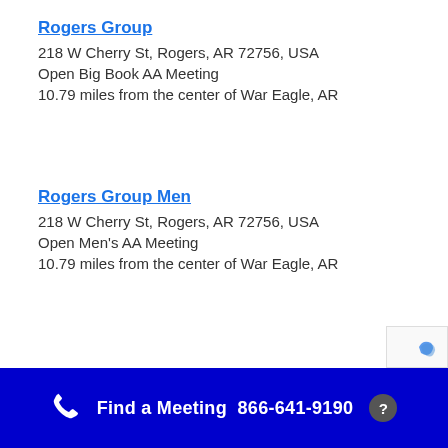Rogers Group
218 W Cherry St, Rogers, AR 72756, USA
Open Big Book AA Meeting
10.79 miles from the center of War Eagle, AR
Rogers Group Men
218 W Cherry St, Rogers, AR 72756, USA
Open Men's AA Meeting
10.79 miles from the center of War Eagle, AR
Find a Meeting  866-641-9190